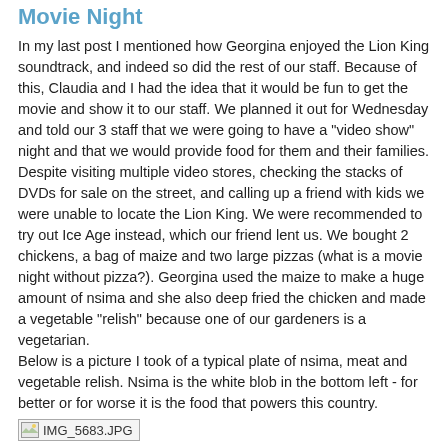Movie Night
In my last post I mentioned how Georgina enjoyed the Lion King soundtrack, and indeed so did the rest of our staff. Because of this, Claudia and I had the idea that it would be fun to get the movie and show it to our staff. We planned it out for Wednesday and told our 3 staff that we were going to have a "video show" night and that we would provide food for them and their families. Despite visiting multiple video stores, checking the stacks of DVDs for sale on the street, and calling up a friend with kids we were unable to locate the Lion King. We were recommended to try out Ice Age instead, which our friend lent us. We bought 2 chickens, a bag of maize and two large pizzas (what is a movie night without pizza?). Georgina used the maize to make a huge amount of nsima and she also deep fried the chicken and made a vegetable "relish" because one of our gardeners is a vegetarian.
Below is a picture I took of a typical plate of nsima, meat and vegetable relish. Nsima is the white blob in the bottom left - for better or for worse it is the food that powers this country.
[Figure (photo): Linked image placeholder labeled IMG_5683.JPG]